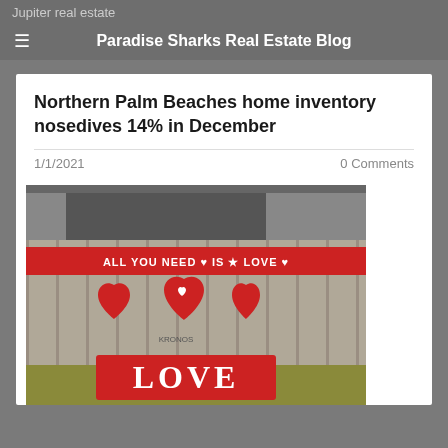Jupiter real estate
Paradise Sharks Real Estate Blog
Northern Palm Beaches home inventory nosedives 14% in December
1/1/2021   0 Comments
[Figure (photo): Photo of a fence decorated with large red hearts and a red banner reading 'ALL YOU NEED IS LOVE' and a large red 'LOVE' sign at the bottom]